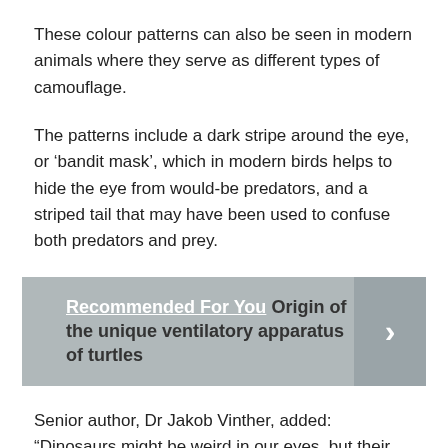These colour patterns can also be seen in modern animals where they serve as different types of camouflage.
The patterns include a dark stripe around the eye, or ‘bandit mask’, which in modern birds helps to hide the eye from would-be predators, and a striped tail that may have been used to confuse both predators and prey.
[Figure (infographic): Recommended For You banner with text: 'Recommended For You  Origin of the unique ventilatory apparatus of turtles' with a right-arrow button on the right side.]
Senior author, Dr Jakob Vinther, added: “Dinosaurs might be weird in our eyes, but their colour patterns very much resemble modern counterparts.
“They had excellent vision, were fierce predators and would